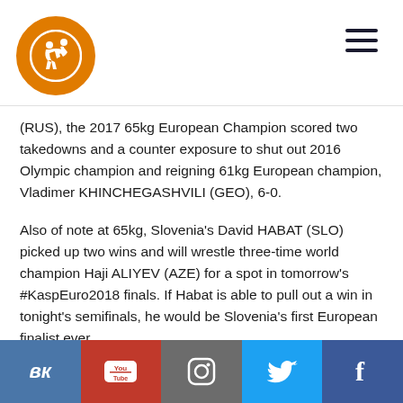Wrestling logo and navigation header
(RUS), the 2017 65kg European Champion scored two takedowns and a counter exposure to shut out 2016 Olympic champion and reigning 61kg European champion, Vladimer KHINCHEGASHVILI (GEO), 6-0.
Also of note at 65kg, Slovenia's David HABAT (SLO) picked up two wins and will wrestle three-time world champion Haji ALIYEV (AZE) for a spot in tomorrow's #KaspEuro2018 finals. If Habat is able to pull out a win in tonight's semifinals, he would be Slovenia's first European finalist ever.
SEMIFINAL MATCH-UPS
57kg
Semifinal – Uladzislau ANDREYEU (BLR) vs. Giorgi EDISHERASHVILI (AZE)
Social media links: VK, YouTube, Instagram, Twitter, Facebook